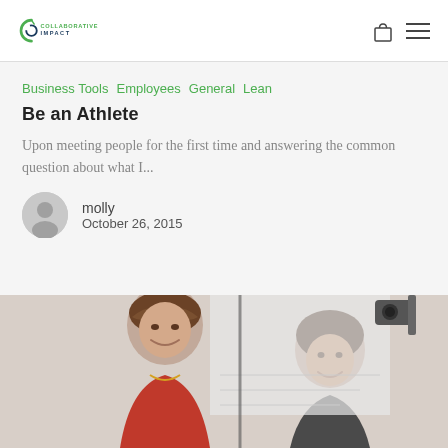Collaborative Impact
Business Tools  Employees  General  Lean
Be an Athlete
Upon meeting people for the first time and answering the common question about what I...
molly
October 26, 2015
[Figure (photo): Two smiling women standing together, one wearing a red jacket and the other a grey blazer, in what appears to be a conference or classroom setting with a whiteboard visible behind them.]